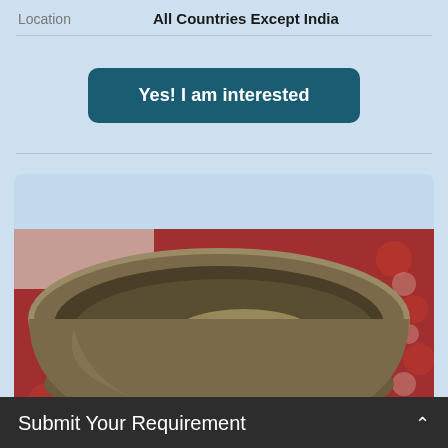Location	All Countries Except India
[Figure (photo): A singing bowl (Tibetan/Himalayan metal bowl) placed on a red patterned carpet/rug, viewed from a slight top-down angle showing the interior of the bowl.]
Submit Your Requirement